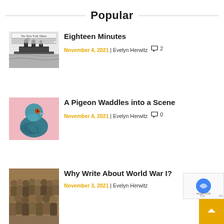Popular
[Figure (photo): New York Times newspaper with steamship image (historical Titanic era)]
Eighteen Minutes
November 4, 2021 | Evelyn Herwitz  2
[Figure (photo): Close-up photo of a blue/green pigeon against pink background]
A Pigeon Waddles into a Scene
November 4, 2021 | Evelyn Herwitz  0
[Figure (photo): Group of soldiers / World War I scene]
Why Write About World War I?
November 3, 2021 | Evelyn Herwitz